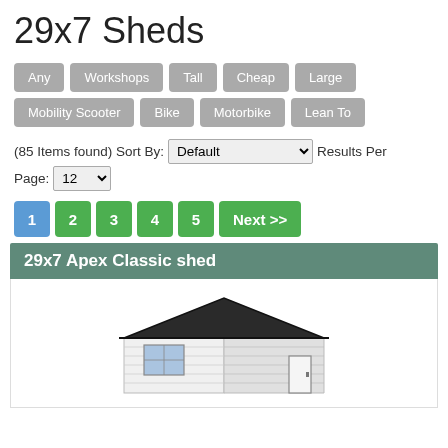29x7 Sheds
Any
Workshops
Tall
Cheap
Large
Mobility Scooter
Bike
Motorbike
Lean To
(85 Items found) Sort By: Default Results Per Page: 12
Pagination: 1 2 3 4 5 Next >>
29x7 Apex Classic shed
[Figure (illustration): 3D illustration of a 29x7 Apex Classic shed with dark grey roof and white/light grey horizontal cladding, showing front door and side window]